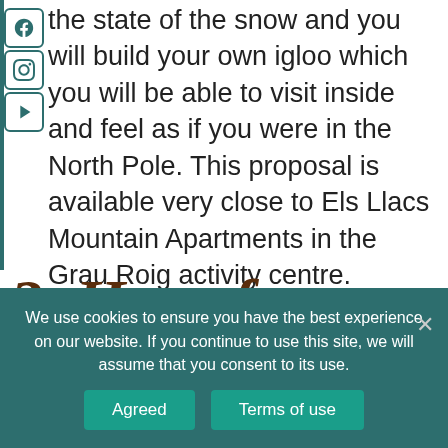the state of the snow and you will build your own igloo which you will be able to visit inside and feel as if you were in the North Pole. This proposal is available very close to Els Llacs Mountain Apartments in the Grau Roig activity centre.
2. Have fun on the Magic Gliss
We use cookies to ensure you have the best experience on our website. If you continue to use this site, we will assume that you consent to its use.